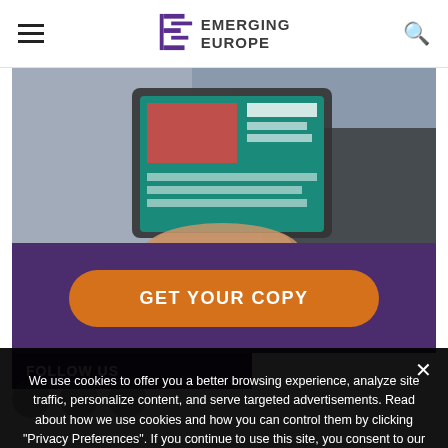Emerging Europe
[Figure (photo): Person holding a tablet device showing content, photographed from above/side angle]
[Figure (other): Purple background section with orange rounded button labeled GET YOUR COPY]
FOLLOW US
We use cookies to offer you a better browsing experience, analyze site traffic, personalize content, and serve targeted advertisements. Read about how we use cookies and how you can control them by clicking "Privacy Preferences". If you continue to use this site, you consent to our use of cookies. More...